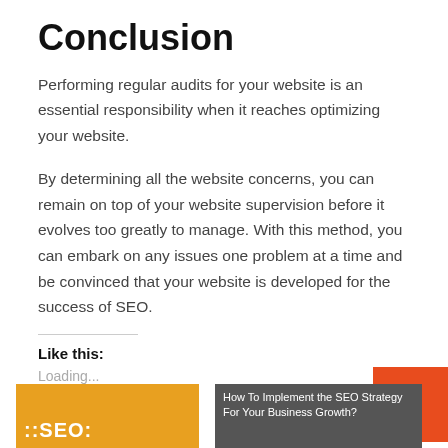Conclusion
Performing regular audits for your website is an essential responsibility when it reaches optimizing your website.
By determining all the website concerns, you can remain on top of your website supervision before it evolves too greatly to manage. With this method, you can embark on any issues one problem at a time and be convinced that your website is developed for the success of SEO.
Like this:
Loading...
[Figure (photo): Two thumbnail images at the bottom: left shows an SEO-themed image with yellow/pink background, right shows a blog post thumbnail with text 'How To Implement the SEO Strategy For Your Business Growth?']